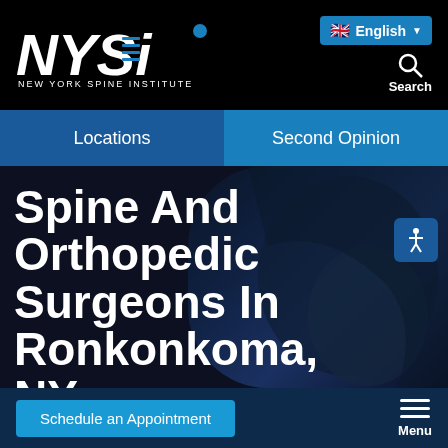[Figure (logo): NYSI New York Spine Institute logo in white on black background]
English (language selector with UK flag)
Search
Locations
Second Opinion
Spine And Orthopedic Surgeons In Ronkonkoma, NY
Schedule an Appointment
Menu